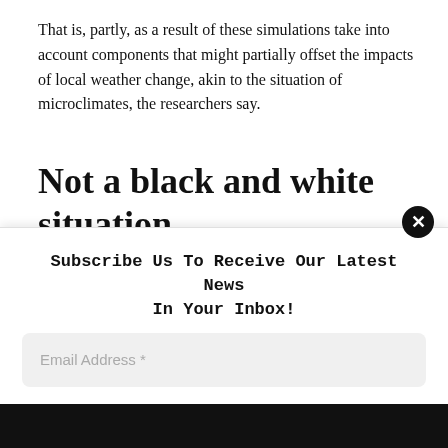That is, partly, as a result of these simulations take into account components that might partially offset the impacts of local weather change, akin to the situation of microclimates, the researchers say.
Not a black and white situation
The findings counsel {that a} vary of things, together with local weather change and human exercise, must be thought-about when planning panda conservation initiatives, the
Subscribe Us To Receive Our Latest News In Your Inbox!
Email Address *